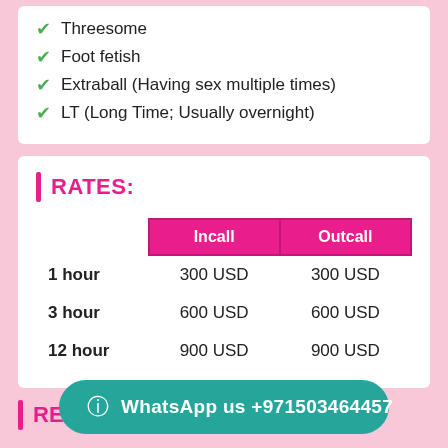Threesome
Foot fetish
Extraball (Having sex multiple times)
LT (Long Time; Usually overnight)
RATES:
|  | Incall | Outcall |
| --- | --- | --- |
| 1 hour | 300 USD | 300 USD |
| 3 hour | 600 USD | 600 USD |
| 12 hour | 900 USD | 900 USD |
REVIEWS
WhatsApp us +971503464457